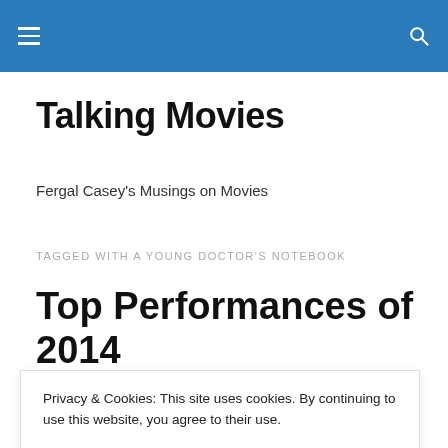Talking Movies (site header bar with menu and search icons)
Talking Movies
Fergal Casey's Musings on Movies
TAGGED WITH A YOUNG DOCTOR'S NOTEBOOK
Top Performances of 2014
As the traditional complement to the Top 10 Films, here are…
Privacy & Cookies: This site uses cookies. By continuing to use this website, you agree to their use.
To find out more, including how to control cookies, see here: Cookie Policy
performances.